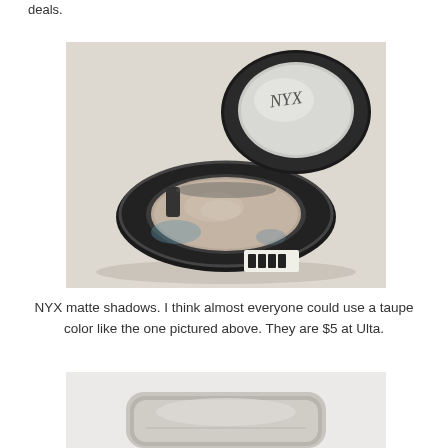deals.
[Figure (photo): NYX eyeshadow compact open, showing a taupe matte shadow pan inside a round black compact with the NYX logo visible in the mirror lid. Product sticker visible on the bottom.]
NYX matte shadows.  I think almost everyone could use a taupe color like the one pictured above.  They are $5 at Ulta.
[Figure (photo): Partial view of another beauty product, showing the top portion of a compact or palette against a light background.]